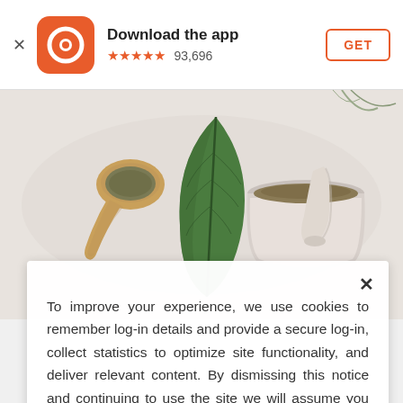Download the app  ★★★★★ 93,696  GET
[Figure (photo): Overhead photo of herbs and spices on a white background: a wooden spoon with dried herbs, a large green leaf, and a white mortar and pestle filled with ground spice.]
To improve your experience, we use cookies to remember log-in details and provide a secure log-in, collect statistics to optimize site functionality, and deliver relevant content. By dismissing this notice and continuing to use the site we will assume you have accepted our Cookie Policy